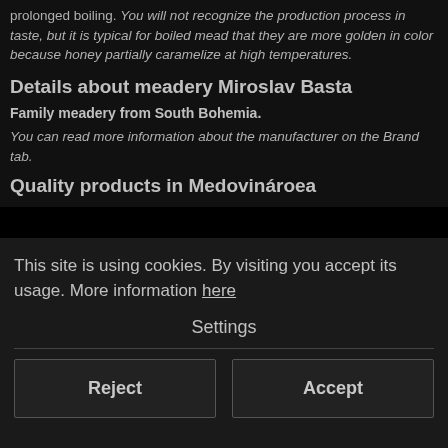prolonged boiling. You will not recognize the production process in taste, but it is typical for boiled mead that they are more golden in color because honey partially caramelize at high temperatures.
Details about meadery Miroslav Basta
Family meadery from South Bohemia.
You can read more information about the manufacturer on the Brand tab.
Quality products in Medovinárea
This site is using cookies. By visiting you accept its usage. More information here
Settings
Reject
Accept